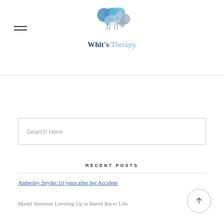[Figure (logo): Whit's Therapy logo with horse and hearts in blue/grey tones above the text]
Whit's Therapy
Search Here
RECENT POSTS
Amberley Snyder 10 years after her Accident
Maddi Steltman Leveling Up in Barrel Racer Life